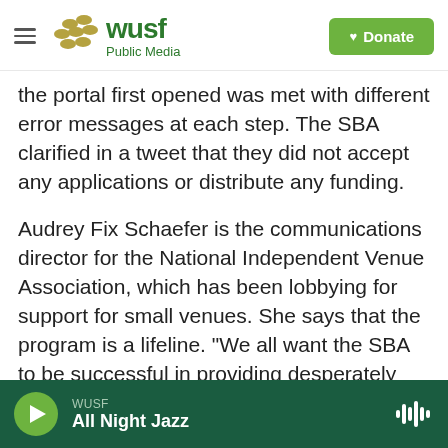WUSF Public Media — Donate
the portal first opened was met with different error messages at each step. The SBA clarified in a tweet that they did not accept any applications or distribute any funding.
Audrey Fix Schaefer is the communications director for the National Independent Venue Association, which has been lobbying for support for small venues. She says that the program is a lifeline. "We all want the SBA to be successful in providing desperately needed emergency relief ASAP."
The SVOG is a $16 billion grant program that was
WUSF — All Night Jazz